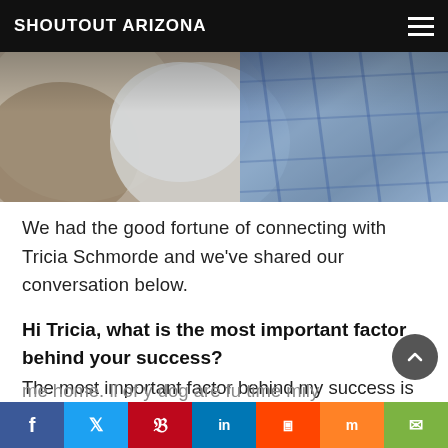SHOUTOUT ARIZONA
[Figure (photo): Close-up photo of a fluffy dog with white and brown fur next to a blue plaid shirt/fabric, with a vintage/filtered look.]
We had the good fortune of connecting with Tricia Schmorde and we’ve shared our conversation below.
Hi Tricia, what is the most important factor behind your success?
The most important factor behind my success is the way I raise my Shiba Inu and Siberians inside my home. All of my dogs are full-time family